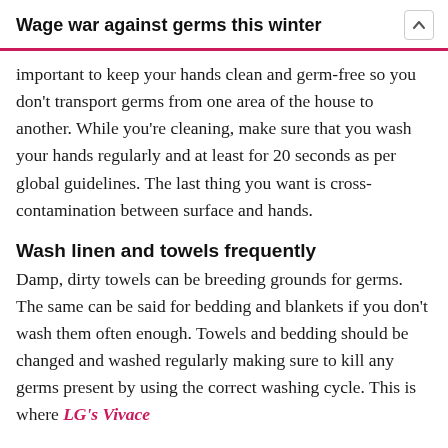Wage war against germs this winter
important to keep your hands clean and germ-free so you don't transport germs from one area of the house to another. While you're cleaning, make sure that you wash your hands regularly and at least for 20 seconds as per global guidelines. The last thing you want is cross-contamination between surface and hands.
Wash linen and towels frequently
Damp, dirty towels can be breeding grounds for germs. The same can be said for bedding and blankets if you don't wash them often enough. Towels and bedding should be changed and washed regularly making sure to kill any germs present by using the correct washing cycle. This is where LG's Vivace